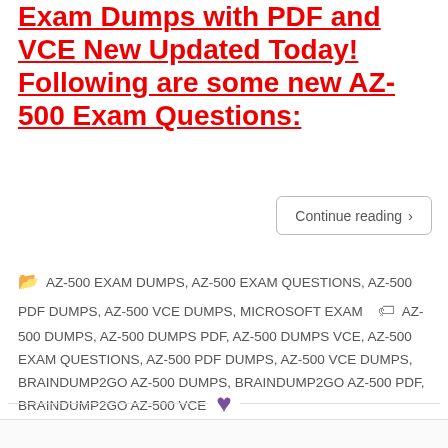Exam Dumps with PDF and VCE New Updated Today! Following are some new AZ-500 Exam Questions:
Continue reading ›
AZ-500 EXAM DUMPS, AZ-500 EXAM QUESTIONS, AZ-500 PDF DUMPS, AZ-500 VCE DUMPS, MICROSOFT EXAM   AZ-500 DUMPS, AZ-500 DUMPS PDF, AZ-500 DUMPS VCE, AZ-500 EXAM QUESTIONS, AZ-500 PDF DUMPS, AZ-500 VCE DUMPS, BRAINDUMP2GO AZ-500 DUMPS, BRAINDUMP2GO AZ-500 PDF, BRAINDUMP2GO AZ-500 VCE